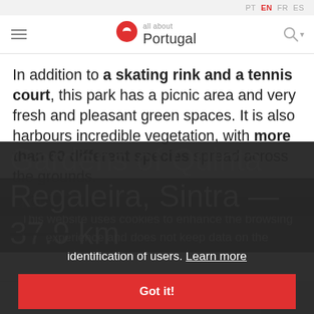PT EN FR ES
[Figure (logo): All About Portugal logo with red map pin icon and text 'all about Portugal']
In addition to a skating rink and a tennis court, this park has a picnic area and very fresh and pleasant green spaces. It is also harbours incredible vegetation, with more than 60 different species spread across the grounds.
See more
This website uses cookies to enhance the browsing experience and does not keep data on the identification of users. Learn more
Got it!
Gardens of Quinta da Regaleira, Sintra — 37.9 km